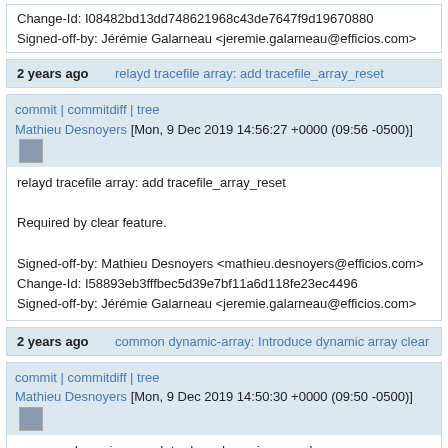Change-Id: I08482bd13dd748621968c43de7647f9d19670880
Signed-off-by: Jérémie Galarneau <jeremie.galarneau@efficios.com>
2 years ago    relayd tracefile array: add tracefile_array_reset
commit | commitdiff | tree
Mathieu Desnoyers [Mon, 9 Dec 2019 14:56:27 +0000 (09:56 -0500)]
relayd tracefile array: add tracefile_array_reset

Required by clear feature.

Signed-off-by: Mathieu Desnoyers <mathieu.desnoyers@efficios.com>
Change-Id: I58893eb3fffbec5d39e7bf11a6d118fe23ec4496
Signed-off-by: Jérémie Galarneau <jeremie.galarneau@efficios.com>
2 years ago    common dynamic-array: Introduce dynamic array clear
commit | commitdiff | tree
Mathieu Desnoyers [Mon, 9 Dec 2019 14:50:30 +0000 (09:50 -0500)]
common dynamic-array: Introduce dynamic array clear